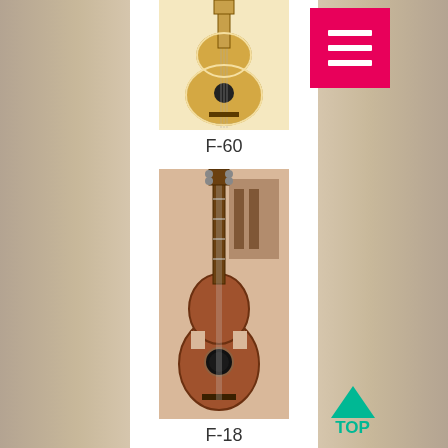[Figure (photo): Acoustic guitar F-60, front view, natural finish, seen from above]
F-60
[Figure (photo): Acoustic guitar F-18, reddish-brown finish, full body front view in a room]
F-18
[Figure (photo): Acoustic 12-string guitar F-20, natural finish, full body front view]
F-20
[Figure (photo): Partial view of another guitar at the bottom of the page, green background]